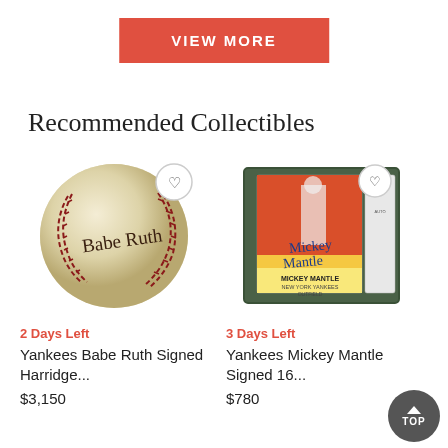[Figure (other): Orange/red 'VIEW MORE' button]
Recommended Collectibles
[Figure (photo): Babe Ruth signed baseball with signature visible on the ball]
2 Days Left
Yankees Babe Ruth Signed Harridge...
$3,150
[Figure (photo): Mickey Mantle signed 1963 baseball card, graded and encapsulated in a PSA holder]
3 Days Left
Yankees Mickey Mantle Signed 16...
$780